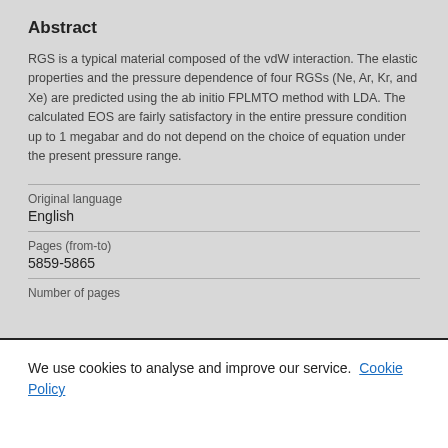Abstract
RGS is a typical material composed of the vdW interaction. The elastic properties and the pressure dependence of four RGSs (Ne, Ar, Kr, and Xe) are predicted using the ab initio FPLMTO method with LDA. The calculated EOS are fairly satisfactory in the entire pressure condition up to 1 megabar and do not depend on the choice of equation under the present pressure range.
| Original language |  |
| English |  |
| Pages (from-to) |  |
| 5859-5865 |  |
| Number of pages |  |
We use cookies to analyse and improve our service. Cookie Policy